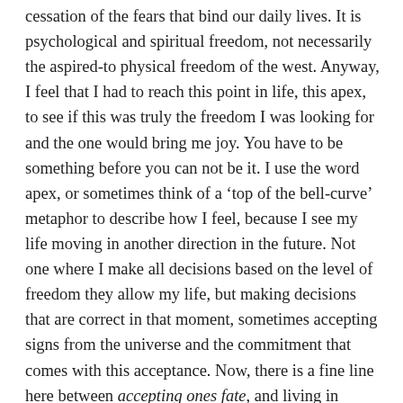cessation of the fears that bind our daily lives. It is psychological and spiritual freedom, not necessarily the aspired-to physical freedom of the west. Anyway, I feel that I had to reach this point in life, this apex, to see if this was truly the freedom I was looking for and the one would bring me joy. You have to be something before you can not be it. I use the word apex, or sometimes think of a 'top of the bell-curve' metaphor to describe how I feel, because I see my life moving in another direction in the future. Not one where I make all decisions based on the level of freedom they allow my life, but making decisions that are correct in that moment, sometimes accepting signs from the universe and the commitment that comes with this acceptance. Now, there is a fine line here between accepting ones fate, and living in accordance with the moment. I don't like the word fate, because it does imply pre-determination. I don't believe in this at all. BUT, I do believe as one becomes wiser and more self-aware in their existence, they can more clearly wade through he waters of what the universe presents to them on a daily basis, choicelessly choosing the correct path based on the principle of